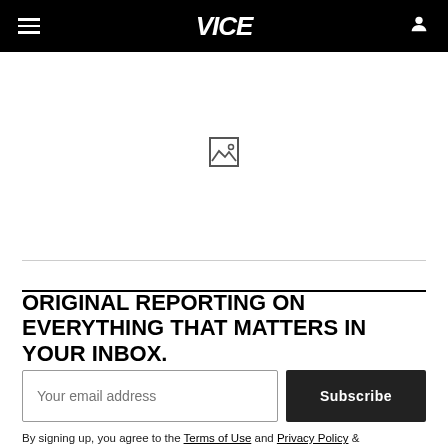VICE
[Figure (illustration): Broken image placeholder icon centered in a white area]
ORIGINAL REPORTING ON EVERYTHING THAT MATTERS IN YOUR INBOX.
Your email address [input field] Subscribe [button]
By signing up, you agree to the Terms of Use and Privacy Policy &